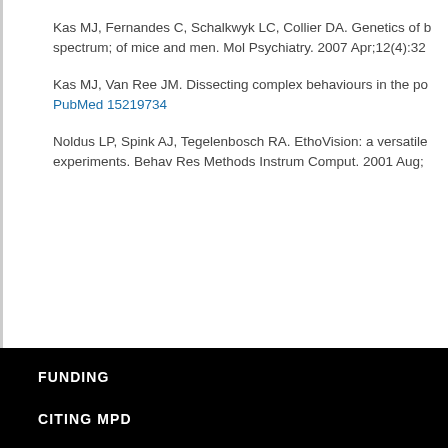Kas MJ, Fernandes C, Schalkwyk LC, Collier DA. Genetics of behavioural spectrum; of mice and men. Mol Psychiatry. 2007 Apr;12(4):32
Kas MJ, Van Ree JM. Dissecting complex behaviours in the po PubMed 15219734
Noldus LP, Spink AJ, Tegelenbosch RA. EthoVision: a versatile experiments. Behav Res Methods Instrum Comput. 2001 Aug;
FUNDING
CITING MPD